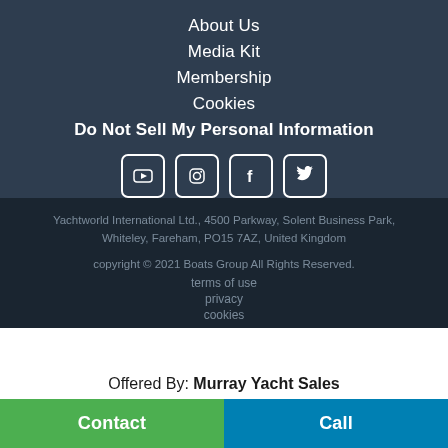About Us
Media Kit
Membership
Cookies
Do Not Sell My Personal Information
[Figure (other): Social media icons: YouTube, Instagram, Facebook, Twitter]
Yachtworld International Ltd., 4500 Parkway, Solent Business Park, Whiteley, Fareham, PO15 7AZ, United Kingdom
copyright © 2021 Boats Group All Rights Reserved.
terms of use
privacy
cookies
Offered By: Murray Yacht Sales
Contact
Call